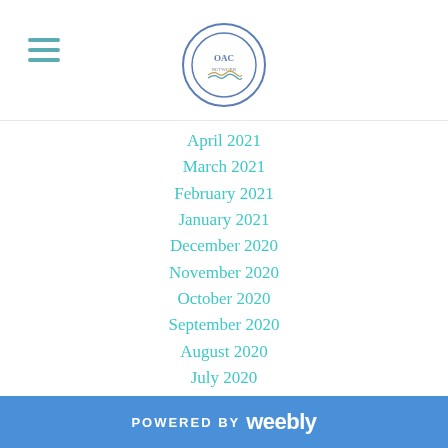OAC [logo]
April 2021
March 2021
February 2021
January 2021
December 2020
November 2020
October 2020
September 2020
August 2020
July 2020
June 2020
May 2020
April 2020
March 2020
February 2020
January 2020
POWERED BY weebly